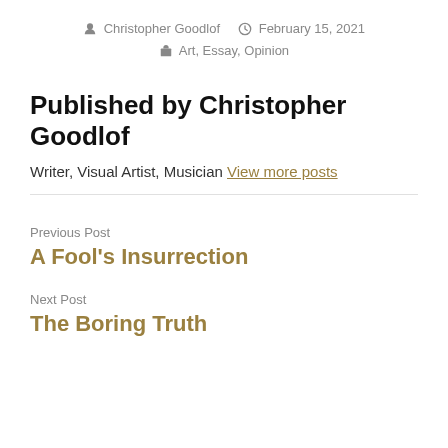Christopher Goodlof   February 15, 2021   Art, Essay, Opinion
Published by Christopher Goodlof
Writer, Visual Artist, Musician View more posts
Previous Post
A Fool's Insurrection
Next Post
The Boring Truth